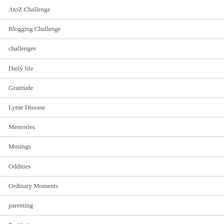AtoZ Challenge
Blogging Challenge
challenges
Daily life
Gratitude
Lyme Disease
Memories
Musings
Oddities
Ordinary Moments
parenting
Positivity
Positivity Project